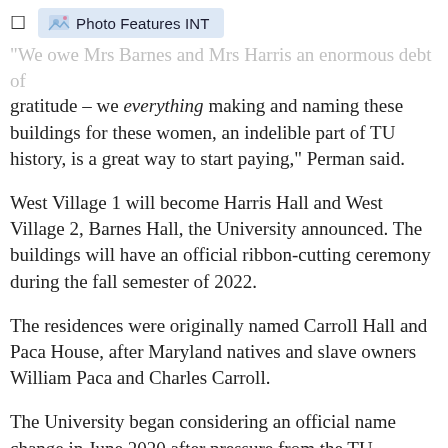Photo Features INT
“We owe Mrs Barnes and Mrs Harris an enormous debt of gratitude – we everything making and naming these buildings for these women, an indelible part of TU history, is a great way to start paying,” Perman said.
West Village 1 will become Harris Hall and West Village 2, Barnes Hall, the University announced. The buildings will have an official ribbon-cutting ceremony during the fall semester of 2022.
The residences were originally named Carroll Hall and Paca House, after Maryland natives and slave owners William Paca and Charles Carroll.
The University began considering an official name change in June 2020 after pressure from the TU community and an official request from the Student Government Association,